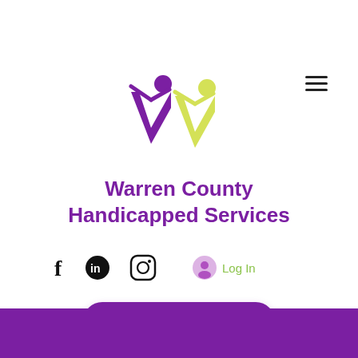[Figure (logo): Warren County Handicapped Services logo - stylized W shape with purple and yellow-green figures with arms raised]
[Figure (other): Hamburger menu icon (three horizontal lines) in top right]
Warren County Handicapped Services
[Figure (other): Social media icons row: Facebook (f), LinkedIn (in circle), Instagram (camera icon), and Log In button with user avatar icon]
[Figure (other): Get Involved button - purple rounded rectangle]
[Figure (other): Donate button - purple rounded rectangle]
[Figure (other): Purple footer band at bottom of page]